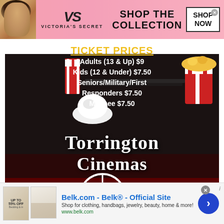[Figure (illustration): Victoria's Secret advertisement banner with model photo on left, VS logo in center, 'SHOP THE COLLECTION' text, and 'SHOP NOW' button on pink background]
[Figure (illustration): Torrington Cinemas advertisement showing cinema seating, popcorn and snacks, ticket price list, cinema logo with film reel, and contact information]
[Figure (illustration): Belk.com online advertisement showing product images on left, title 'Belk.com - Belk® - Official Site', description text, website URL, and blue circle arrow button]